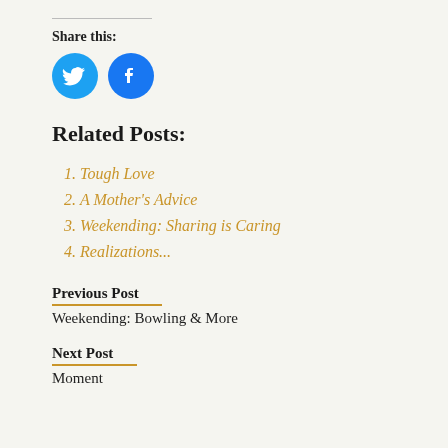Share this:
[Figure (illustration): Twitter and Facebook social share icon buttons (blue circles with bird and f icons)]
Related Posts:
Tough Love
A Mother's Advice
Weekending: Sharing is Caring
Realizations...
Previous Post
Weekending: Bowling & More
Next Post
Moment